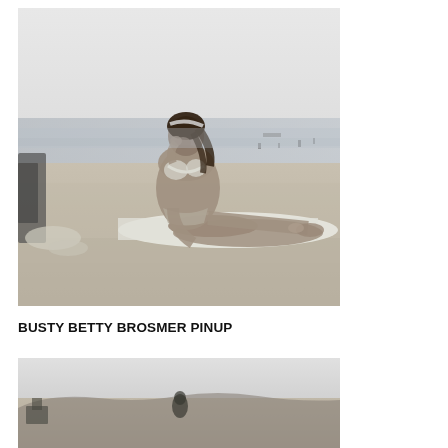[Figure (photo): Black and white vintage photograph of a woman in a bikini sitting on a beach towel on sandy beach, with the ocean and horizon visible in the background. She has dark hair with a headband and is looking down.]
BUSTY BETTY BROSMER PINUP
[Figure (photo): Black and white vintage photograph, partial view showing sandy beach terrain and sky at bottom of page.]